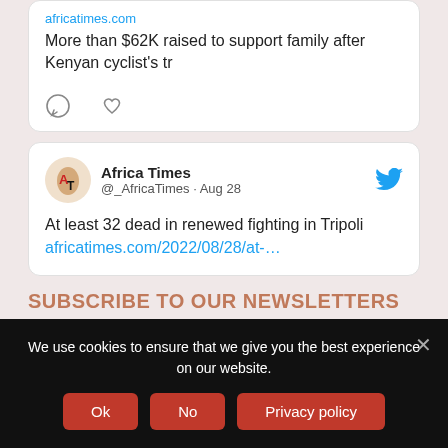africatimes.com
More than $62K raised to support family after Kenyan cyclist's tr
[Figure (screenshot): Comment and like icons (social media action buttons)]
[Figure (screenshot): Africa Times Twitter/social media card: Africa Times @_AfricaTimes · Aug 28 — At least 32 dead in renewed fighting in Tripoli africatimes.com/2022/08/28/at-...]
SUBSCRIBE TO OUR NEWSLETTERS
Your Name
We use cookies to ensure that we give you the best experience on our website.
Ok  No  Privacy policy